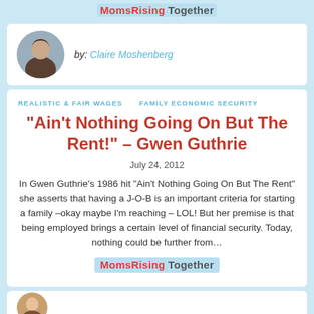[Figure (logo): MomsRising Together logo at top]
[Figure (photo): Circular profile photo of Claire Moshenberg]
by: Claire Moshenberg
REALISTIC & FAIR WAGES    FAMILY ECONOMIC SECURITY
“Ain’t Nothing Going On But The Rent!” – Gwen Guthrie
July 24, 2012
In Gwen Guthrie’s 1986 hit “Ain’t Nothing Going On But The Rent” she asserts that having a J-O-B is an important criteria for starting a family –okay maybe I’m reaching – LOL! But her premise is that being employed brings a certain level of financial security. Today, nothing could be further from…
[Figure (logo): MomsRising Together logo at bottom]
[Figure (photo): Partial circular profile photo at bottom]